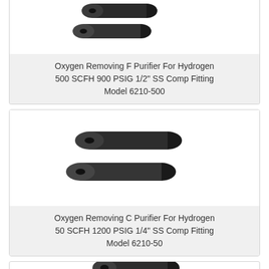[Figure (photo): Two black cylindrical gas purifier tubes arranged diagonally, partially visible at top of page]
Oxygen Removing F Purifier For Hydrogen 500 SCFH 900 PSIG 1/2" SS Comp Fitting Model 6210-500
[Figure (photo): Two black cylindrical gas purifier tubes arranged diagonally, larger size]
Oxygen Removing C Purifier For Hydrogen 50 SCFH 1200 PSIG 1/4" SS Comp Fitting Model 6210-50
[Figure (photo): Two black cylindrical gas purifier tubes, partially visible at bottom of page]